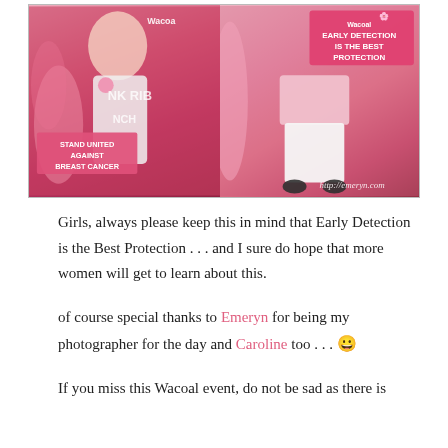[Figure (photo): Two-panel photo from a Wacoal Pink Ribbon event. Left panel shows a woman in white holding a pink sign reading 'STAND UNITED AGAINST BREAST CANCER' with a pink ribbon backdrop and 'NK RIB' text visible. Right panel shows a person in pink top and white pants holding a pink sign reading 'EARLY DETECTION IS THE BEST PROTECTION'. Watermark: http://emeryn.com]
Girls, always please keep this in mind that Early Detection is the Best Protection . . . and I sure do hope that more women will get to learn about this.
of course special thanks to Emeryn for being my photographer for the day and Caroline too . . . 😀
If you miss this Wacoal event, do not be sad as there is